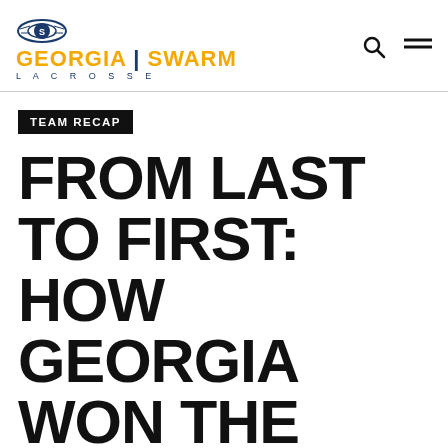[Figure (logo): Georgia Swarm Lacrosse logo with emblem, gold GEORGIA SWARM text, and navy LACROSSE text]
TEAM RECAP
FROM LAST TO FIRST: HOW GEORGIA WON THE EAST
The story, stats, and values behind Georgia's 6-0 run to 1st in the East